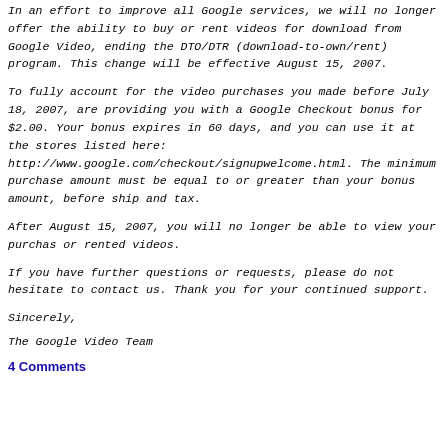In an effort to improve all Google services, we will no longer offer the ability to buy or rent videos for download from Google Video, ending the DTO/DTR (download-to-own/rent) program. This change will be effective August 15, 2007.
To fully account for the video purchases you made before July 18, 2007, are providing you with a Google Checkout bonus for $2.00. Your bonus expires in 60 days, and you can use it at the stores listed here: http://www.google.com/checkout/signupwelcome.html. The minimum purchase amount must be equal to or greater than your bonus amount, before shipping and tax.
After August 15, 2007, you will no longer be able to view your purchased or rented videos.
If you have further questions or requests, please do not hesitate to contact us. Thank you for your continued support.
Sincerely,
The Google Video Team
4 Comments